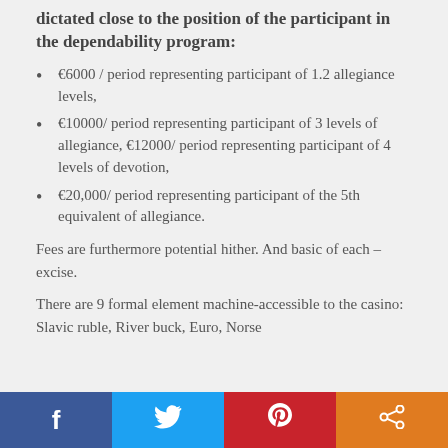dictated close to the position of the participant in the dependability program:
€6000 / period representing participant of 1.2 allegiance levels,
€10000/ period representing participant of 3 levels of allegiance, €12000/ period representing participant of 4 levels of devotion,
€20,000/ period representing participant of the 5th equivalent of allegiance.
Fees are furthermore potential hither. And basic of each – excise.
There are 9 formal element machine-accessible to the casino: Slavic ruble, River buck, Euro, Norse
f   [Twitter]   p   [share]